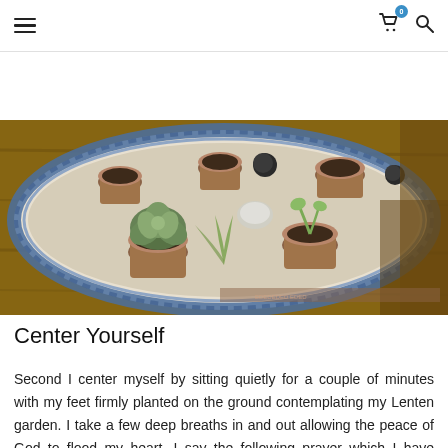≡  🛒 0  🔍
Subscribe
[Figure (photo): Overhead view of a blue and white decorative plate/platter holding several small potted succulents and plants arranged in small terracotta pots with sand, on a wooden surface.]
Center Yourself
Second I center myself by sitting quietly for a couple of minutes with my feet firmly planted on the ground contemplating my Lenten garden. I take a few deep breaths in and out allowing the peace of God to flood my heart. I say the following prayer which I have written out on a piece of paper